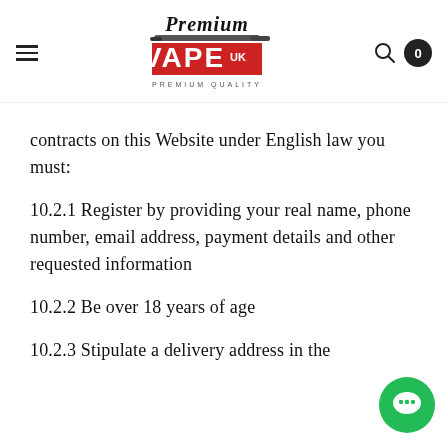[Figure (logo): Premium Vape UK logo with script 'Premium' text above a red banner with 'VAPE UK' in bold letters and 'PREMIUM QUALITY' below]
contracts on this Website under English law you must:
10.2.1 Register by providing your real name, phone number, email address, payment details and other requested information
10.2.2 Be over 18 years of age
10.2.3 Stipulate a delivery address in the